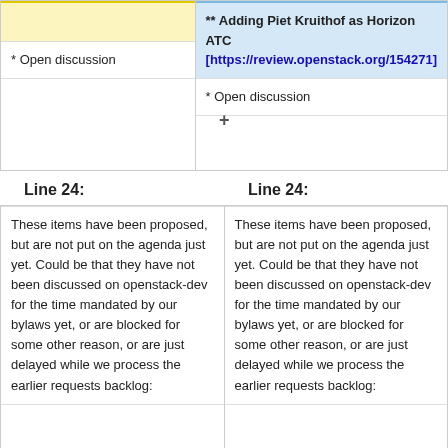| Left | Right |
| --- | --- |
|  | ** Adding Piet Kruithof as Horizon ATC [https://review.openstack.org/154271] |
| * Open discussion | * Open discussion |
|  |  |
Line 24:
Line 24:
| Left | Right |
| --- | --- |
| These items have been proposed, but are not put on the agenda just yet. Could be that they have not been discussed on openstack-dev for the time mandated by our bylaws yet, or are blocked for some other reason, or are just delayed while we process the earlier requests backlog: | These items have been proposed, but are not put on the agenda just yet. Could be that they have not been discussed on openstack-dev for the time mandated by our bylaws yet, or are blocked for some other reason, or are just delayed while we process the earlier requests backlog: |
|  |  |
| * openstack-specs approval | * tbd |